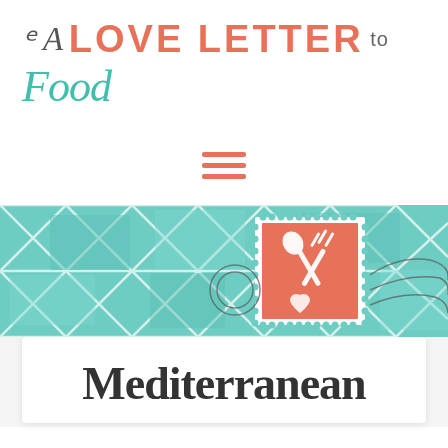A LOVE LETTER to Food
[Figure (illustration): Hamburger/menu icon — three horizontal coral/salmon colored bars]
[Figure (illustration): Banner image with teal/turquoise geometric triangle pattern across a wide strip; in the center-right area there is a coral-orange postage stamp illustration with a white fork and spoon crossed, and a heart shape below, with decorative circular postmark lines around it]
Mediterranean